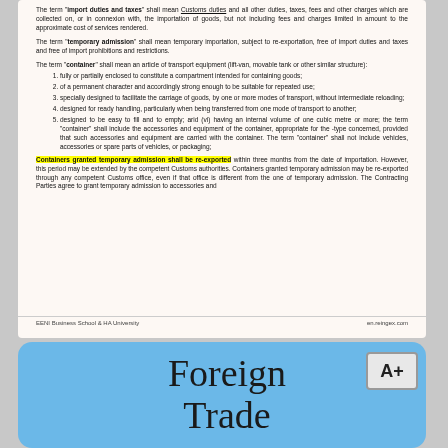The term "import duties and taxes" shall mean Customs duties and all other duties, taxes, fees and other charges which are collected on, or in connexion with, the importation of goods, but not including fees and charges limited in amount to the approximate cost of services rendered.
The term "temporary admission" shall mean temporary importation, subject to re-exportation, free of import duties and taxes and free of import prohibitions and restrictions.
The term "container" shall mean an article of transport equipment (lift-van, movable tank or other similar structure):
fully or partially enclosed to constitute a compartment intended for containing goods;
of a permanent character and accordingly strong enough to be suitable for repeated use;
specially designed to facilitate the carriage of goods, by one or more modes of transport, without intermediate reloading;
designed for ready handling, particularly when being transferred from one mode of transport to another;
designed to be easy to fill and to empty; arid (vi) having an internal volume of one cubic metre or more; the term "container" shall include the accessories and equipment of the container, appropriate for the -type concerned, provided that such accessories and equipment are carried with the container. The term "container" shall not include vehicles, accessories or spare parts of vehicles, or packaging;
Containers granted temporary admission shall be re-exported within three months from the date of importation. However, this period may be extended by the competent Customs authorities. Containers granted temporary admission may be re-exported through any competent Customs office, even if that office is different from the one of temporary admission. The Contracting Parties agree to grant temporary admission to accessories and
EENI Business School & HA University                                                    en.reingex.com
Foreign Trade